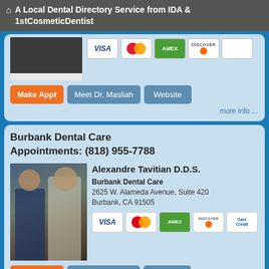A Local Dental Directory Service from IDA & 1stCosmeticDentist
Make Appt | Meet Dr. Masliah | Website
more info ...
Burbank Dental Care
Appointments: (818) 955-7788
Alexandre Tavitian D.D.S.
Burbank Dental Care
2625 W. Alameda Avenue, Suite 420
Burbank, CA 91505
Make Appt | Meet Dr. Tavitian | Website